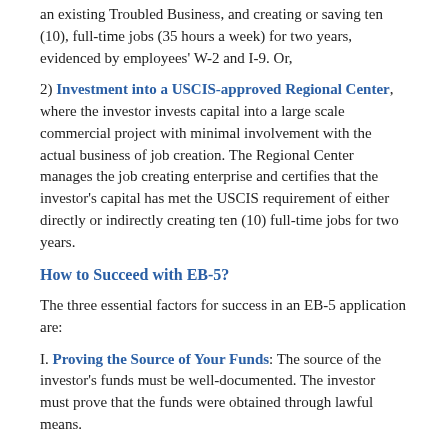an existing Troubled Business, and creating or saving ten (10), full-time jobs (35 hours a week) for two years, evidenced by employees' W-2 and I-9.  Or,
2) Investment into a USCIS-approved Regional Center, where the investor invests capital into a large scale commercial project with minimal involvement with the actual business of job creation.  The Regional Center manages the job creating enterprise and certifies that the investor's capital has met the USCIS requirement of either directly or indirectly creating ten (10) full-time jobs for two years.
How to Succeed with EB-5?
The three essential factors for success in an EB-5 application are:
I.  Proving the Source of Your Funds:  The source of the investor's funds must be well-documented.  The investor must prove that the funds were obtained through lawful means.
II.  Proving Your Investment Created the Jobs:  Comprehensive and credible business plans and economic